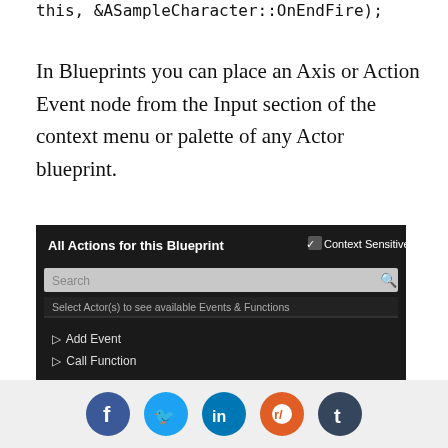this, &ASampleCharacter::OnEndFire);
In Blueprints you can place an Axis or Action Event node from the Input section of the context menu or palette of any Actor blueprint.
[Figure (screenshot): Screenshot of Unreal Engine Blueprint context menu showing 'All Actions for this Blueprint' with Context Sensitive checkbox checked. A search bar is shown. Items listed: Add Event, Call Function, Input > Action Events, Axis Events.]
[Figure (screenshot): Screenshot showing an InputAxis MoveForward node in Unreal Engine Blueprint editor.]